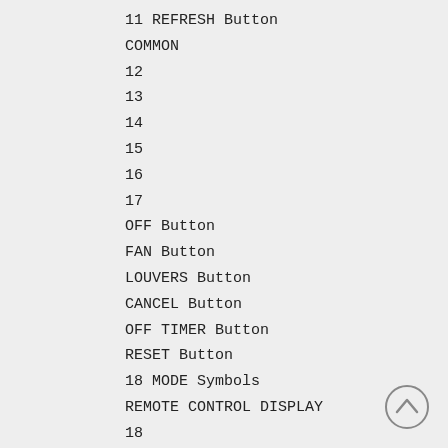11 REFRESH Button
COMMON
12
13
14
15
16
17
OFF Button
FAN Button
LOUVERS Button
CANCEL Button
OFF TIMER Button
RESET Button
18 MODE Symbols
REMOTE CONTROL DISPLAY
18
19
20
21
22
23
24
25